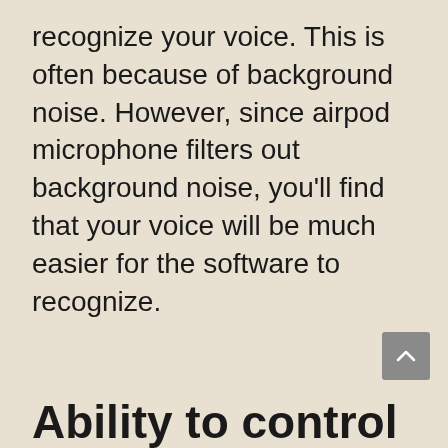recognize your voice. This is often because of background noise. However, since airpod microphone filters out background noise, you'll find that your voice will be much easier for the software to recognize.
Ability to control